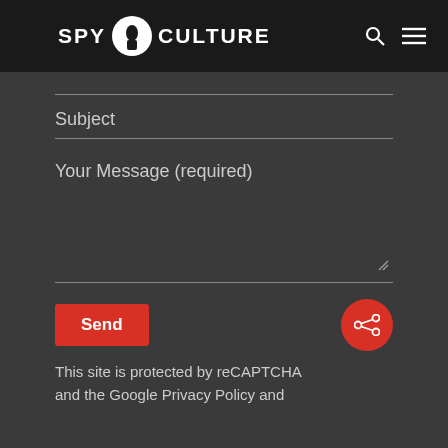SPY CULTURE
Subject
Your Message (required)
Send
This site is protected by reCAPTCHA and the Google Privacy Policy and